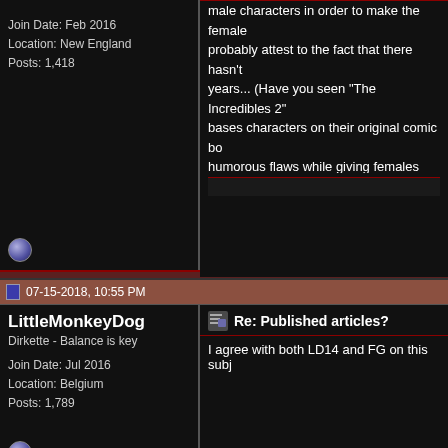Join Date: Feb 2016
Location: New England
Posts: 1,418
male characters in order to make the female... probably attest to the fact that there hasn't years... (Have you seen "The Incredibles 2"... bases characters on their original comic bo... humorous flaws while giving females the up...
07-15-2018, 10:55 PM
LittleMonkeyDog
Dirkette - Balance is key
Join Date: Jul 2016
Location: Belgium
Posts: 1,789
Re: Published articles?
I agree with both LD14 and FG on this subj...
09-05-2019, 01:24 AM
ojai22
Senior Member
Join Date: Apr 2005
Location: The Galaxy
Posts: 1,495
Blog Entries: 2
Re: Published articles?
Quote:
Originally Posted by Wim
Hi All, I am new here and a bit overwhelme... find published articles or interviews with Di... Team).
About "Cahoots" for instance there is not m... it, how the cast was assembled, how his e... the movie being this young), how Anne Lo... dedicated it to Gloria Swanson's husba...